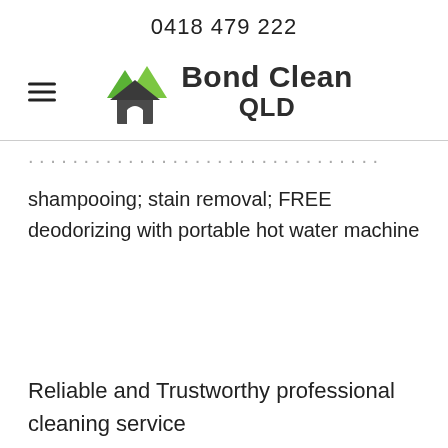0418 479 222
[Figure (logo): Bond Clean QLD logo with green mountain/house icon and hamburger menu]
shampooing; stain removal; FREE deodorizing with portable hot water machine
Reliable and Trustworthy professional cleaning service